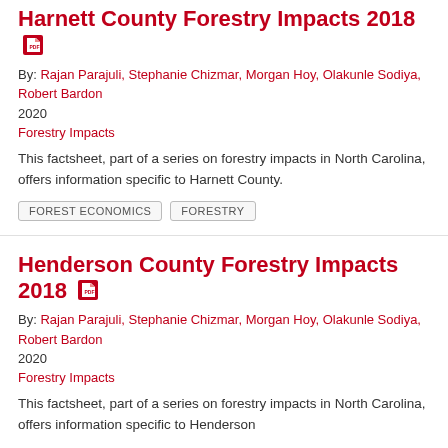Harnett County Forestry Impacts 2018
By: Rajan Parajuli, Stephanie Chizmar, Morgan Hoy, Olakunle Sodiya, Robert Bardon
2020
Forestry Impacts
This factsheet, part of a series on forestry impacts in North Carolina, offers information specific to Harnett County.
FOREST ECONOMICS   FORESTRY
Henderson County Forestry Impacts 2018
By: Rajan Parajuli, Stephanie Chizmar, Morgan Hoy, Olakunle Sodiya, Robert Bardon
2020
Forestry Impacts
This factsheet, part of a series on forestry impacts in North Carolina, offers information specific to Henderson